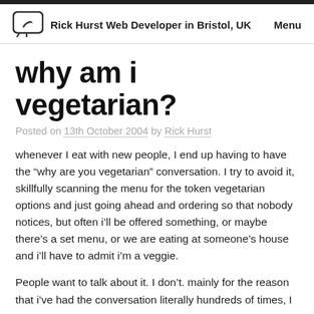Rick Hurst Web Developer in Bristol, UK  Menu
why am i vegetarian?
Posted on 13th October 2004 by Rick Hurst
whenever I eat with new people, I end up having to have the “why are you vegetarian” conversation. I try to avoid it, skillfully scanning the menu for the token vegetarian options and just going ahead and ordering so that nobody notices, but often i’ll be offered something, or maybe there’s a set menu, or we are eating at someone’s house and i’ll have to admit i’m a veggie.
People want to talk about it. I don’t. mainly for the reason that i’ve had the conversation literally hundreds of times, I